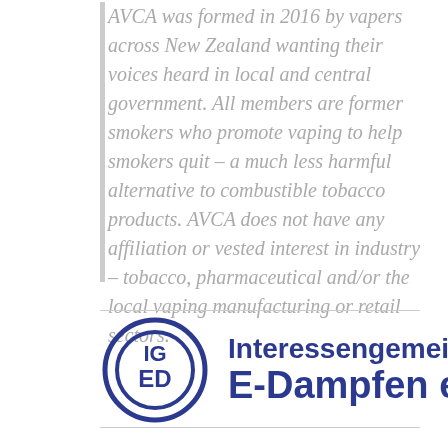AVCA was formed in 2016 by vapers across New Zealand wanting their voices heard in local and central government. All members are former smokers who promote vaping to help smokers quit – a much less harmful alternative to combustible tobacco products. AVCA does not have any affiliation or vested interest in industry – tobacco, pharmaceutical and/or the local vaping manufacturing or retail sectors.
[Figure (logo): IGED logo with circular emblem containing letters IG over ED, beside text reading 'Interessengemeinschaft E-Dampfen e.V.' in dark blue]